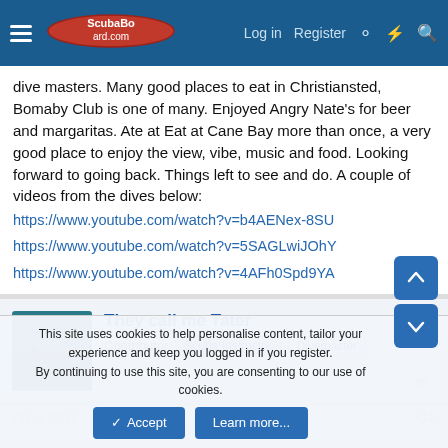ScubaBoard.com — Log in | Register
dive masters. Many good places to eat in Christiansted, Bomaby Club is one of many. Enjoyed Angry Nate's for beer and margaritas. Ate at Eat at Cane Bay more than once, a very good place to enjoy the view, vibe, music and food. Looking forward to going back. Things left to see and do. A couple of videos from the dives below:
https://www.youtube.com/watch?v=b4AENex-8SU
https://www.youtube.com/watch?v=5SAGLwiJOhY
https://www.youtube.com/watch?v=4AFh0Spd9YA
[Figure (photo): Avatar image of a shark underwater, teal/blue tones]
They call me Tater
Contributor  Scuba Instructor  Divemaster
Apr 3, 2015  #12
This site uses cookies to help personalise content, tailor your experience and keep you logged in if you register. By continuing to use this site, you are consenting to our use of cookies.